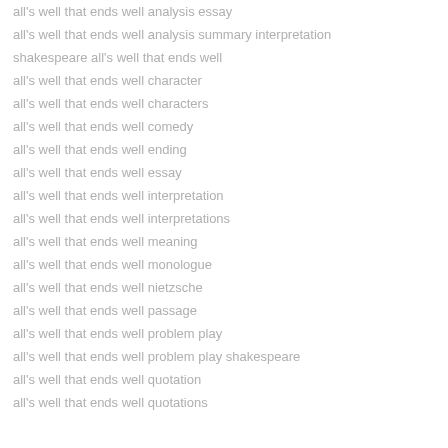all's well that ends well analysis essay
all's well that ends well analysis summary interpretation
shakespeare all's well that ends well
all's well that ends well character
all's well that ends well characters
all's well that ends well comedy
all's well that ends well ending
all's well that ends well essay
all's well that ends well interpretation
all's well that ends well interpretations
all's well that ends well meaning
all's well that ends well monologue
all's well that ends well nietzsche
all's well that ends well passage
all's well that ends well problem play
all's well that ends well problem play shakespeare
all's well that ends well quotation
all's well that ends well quotations